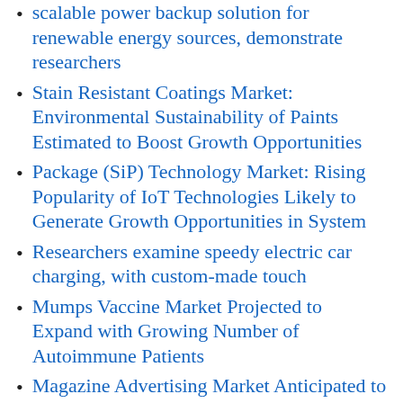scalable power backup solution for renewable energy sources, demonstrate researchers
Stain Resistant Coatings Market: Environmental Sustainability of Paints Estimated to Boost Growth Opportunities
Package (SiP) Technology Market: Rising Popularity of IoT Technologies Likely to Generate Growth Opportunities in System
Researchers examine speedy electric car charging, with custom-made touch
Mumps Vaccine Market Projected to Expand with Growing Number of Autoimmune Patients
Magazine Advertising Market Anticipated to Grow with Industry Platform's Reach to